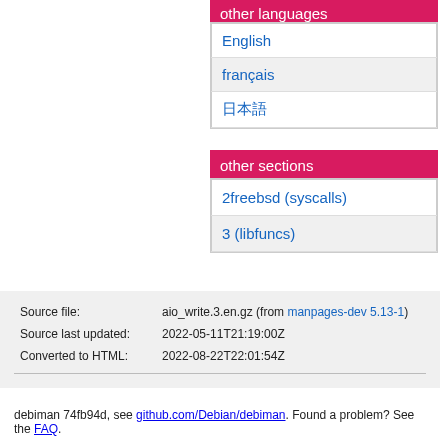other languages
English
français
日本語
other sections
2freebsd (syscalls)
3 (libfuncs)
| Source file: | aio_write.3.en.gz (from manpages-dev 5.13-1) |
| Source last updated: | 2022-05-11T21:19:00Z |
| Converted to HTML: | 2022-08-22T22:01:54Z |
debiman 74fb94d, see github.com/Debian/debiman. Found a problem? See the FAQ.